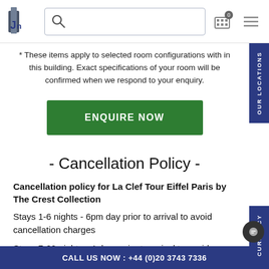Navigation header with logo, search box, and icons
* These items apply to selected room configurations with in this building. Exact specifications of your room will be confirmed when we respond to your enquiry.
ENQUIRE NOW
- Cancellation Policy -
Cancellation policy for La Clef Tour Eiffel Paris by The Crest Collection
Stays 1-6 nights - 6pm day prior to arrival to avoid cancellation charges
Stays 7-29 nights - 4 days prior to arrival to avoid cancellatio
CALL US NOW : +44 (0)20 3743 7336